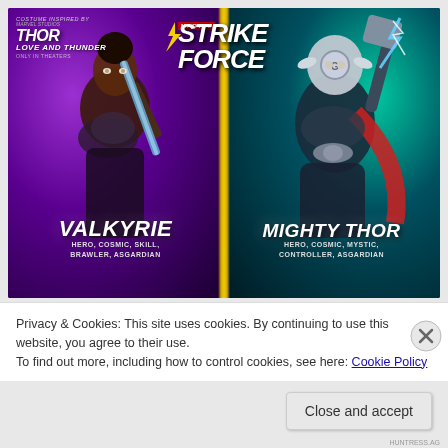[Figure (illustration): Marvel Strike Force promotional image showing two characters: Valkyrie (left, with blue sword, purple background) and Mighty Thor (right, with lightning hammer, teal background). Top-left shows Thor Love and Thunder movie logo. Top-center shows Marvel Strike Force game logo. Bottom shows character names and class tags.]
Privacy & Cookies: This site uses cookies. By continuing to use this website, you agree to their use.
To find out more, including how to control cookies, see here: Cookie Policy